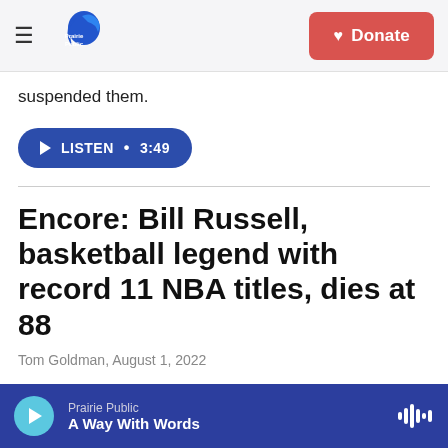Prairie Public — Donate
suspended them.
LISTEN • 3:49
Encore: Bill Russell, basketball legend with record 11 NBA titles, dies at 88
Tom Goldman, August 1, 2022
One of basketball's great players has died. Bill Russell was a star with the Boston Celtics and won the most titles of any NBA player: 11. (Story aired on
Prairie Public — A Way With Words